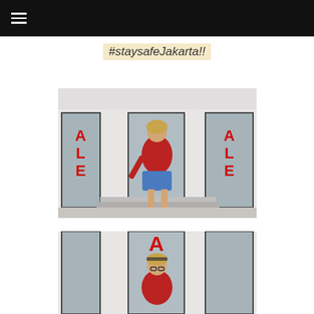☰
#staysafeJakarta!!
[Figure (photo): A young woman wearing a red sweater, denim mini skirt, and white sneakers standing in front of a white building with red SALE signs on the windows.]
[Figure (photo): A partial view of a young woman wearing a red sweater and a headband, standing in front of a white building with red SALE signs on the windows, cropped at the bottom of the page.]